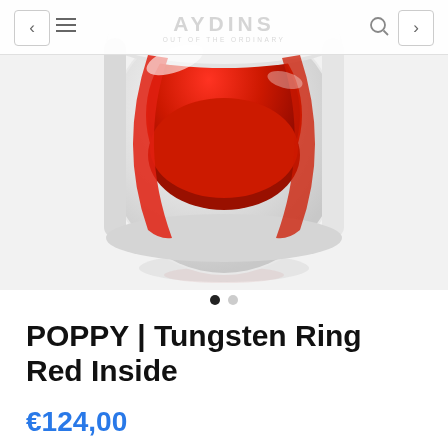AYDINS OUT OF THE ORDINARY
[Figure (photo): A tungsten ring with white/grey exterior and red interior, photographed at an angle showing the red inside, with a soft reflection below on a light grey background.]
POPPY | Tungsten Ring Red Inside
€124,00